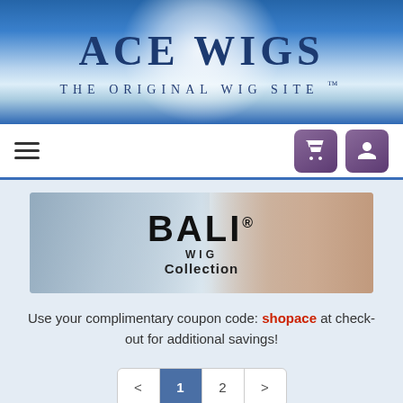ACE WIGS
THE ORIGINAL WIG SITE ™
[Figure (screenshot): Navigation bar with hamburger menu icon on left and cart and user account buttons on right]
[Figure (illustration): BALI® WIG Collection promotional banner with model and abstract background]
Use your complimentary coupon code: shopace at check-out for additional savings!
< 1 2 >